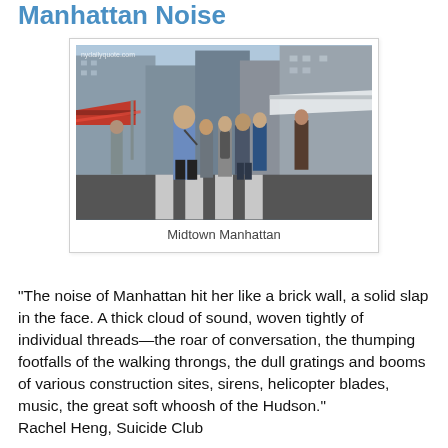Manhattan Noise
[Figure (photo): Street-level photo of a busy Midtown Manhattan crosswalk with food vendor tents, pedestrians walking, tall buildings in background. Watermark: nydailyquote.com]
Midtown Manhattan
"The noise of Manhattan hit her like a brick wall, a solid slap in the face. A thick cloud of sound, woven tightly of individual threads—the roar of conversation, the thumping footfalls of the walking throngs, the dull gratings and booms of various construction sites, sirens, helicopter blades, music, the great soft whoosh of the Hudson."
Rachel Heng, Suicide Club